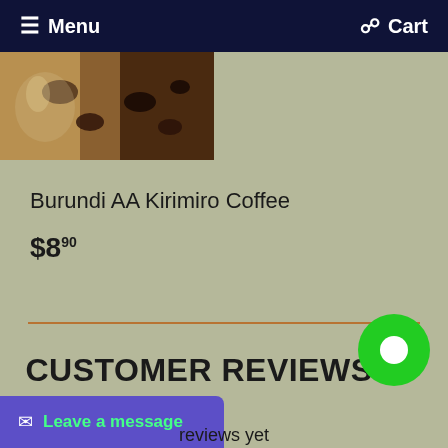Menu   Cart
[Figure (photo): Coffee beans and equipment product photo, sepia/brown tones]
Burundi AA Kirimiro Coffee
$8.90
CUSTOMER REVIEWS
reviews yet
Leave a message